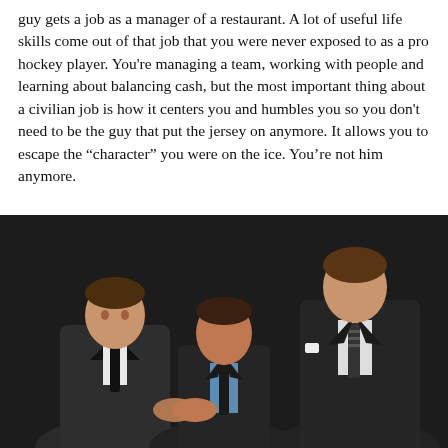guy gets a job as a manager of a restaurant. A lot of useful life skills come out of that job that you were never exposed to as a pro hockey player. You're managing a team, working with people and learning about balancing cash, but the most important thing about a civilian job is how it centers you and humbles you so you don't need to be the guy that put the jersey on anymore. It allows you to escape the "character" you were on the ice. You're not him anymore.
[Figure (photo): Three men in dark suits shaking hands in front of an Audemars Piguet branded backdrop. The man on the left wears a black suit with white shirt and black tie. The man in the middle wears a dark suit with a blue shirt and black tie. The tall man on the right wears a dark suit with white pocket square and dark patterned tie.]